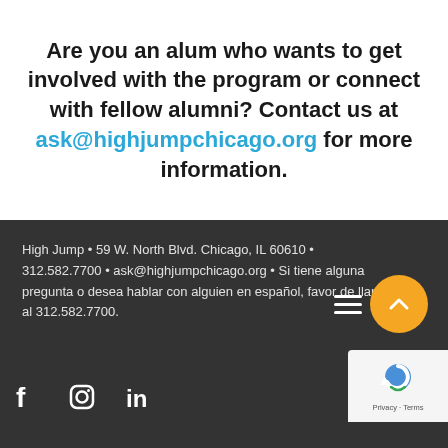Are you an alum who wants to get involved with the program or connect with fellow alumni? Contact us at ask@highjumpchicago.org for more information.
High Jump • 59 W. North Blvd. Chicago, IL 60610 • 312.582.7700 • ask@highjumpchicago.org • Si tiene alguna pregunta o desea hablar con alguien en español, favor de llamar al 312.582.7700.
[Figure (other): Social media icons: Facebook, Instagram, LinkedIn. Orange scroll-to-top button with upward chevron. Hamburger menu icon. Google reCAPTCHA badge with Privacy and Terms text.]